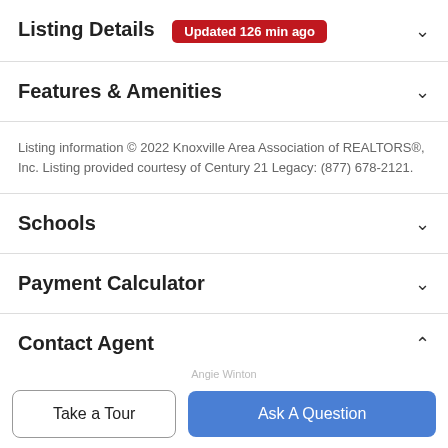Listing Details Updated 126 min ago
Features & Amenities
Listing information © 2022 Knoxville Area Association of REALTORS®, Inc. Listing provided courtesy of Century 21 Legacy: (877) 678-2121.
Schools
Payment Calculator
Contact Agent
[Figure (photo): Partial photo of a real estate agent]
Take a Tour
Ask A Question